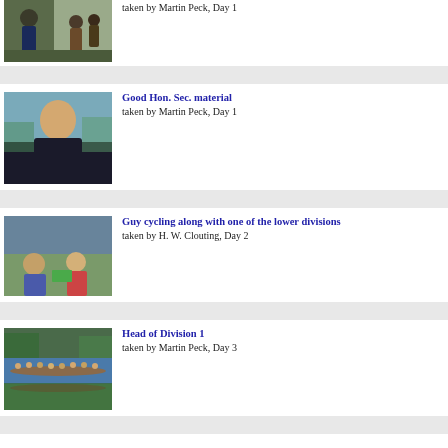[Figure (photo): Partial photo of people at a rowing event, top of page (cropped)]
taken by Martin Peck, Day 1
[Figure (photo): Photo of a young man smiling outdoors near water]
Good Hon. Sec. material
taken by Martin Peck, Day 1
[Figure (photo): Photo of two people cycling alongside rowers]
Guy cycling along with one of the lower divisions
taken by H. W. Clouting, Day 2
[Figure (photo): Photo of a rowing eight on a river with reflections]
Head of Division 1
taken by Martin Peck, Day 3